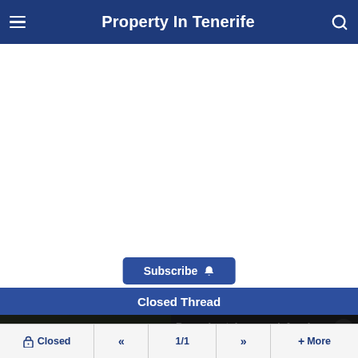Property In Tenerife
Subscribe
Closed Thread
[Figure (screenshot): Video player overlay showing media error message: 'The media could not be loaded, either because the server or network failed or because the format is not supported.' with a dark semi-transparent background over a video thumbnail. A text overlay on the right reads 'Dummies take over defensive wall at Real Madrid'. A close (X) button appears top-right.]
Closed  «  1/1  »  + More